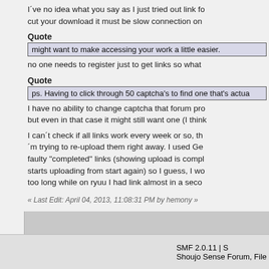I've no idea what you say as I just tried out link fo... cut your download it must be slow connection on...
Quote
might want to make accessing your work a little easier.
no one needs to register just to get links so what...
Quote
ps. Having to click through 50 captcha's to find one that's actua...
I have no ability to change captcha that forum pro... but even in that case it might still want one (I think...
I can't check if all links work every week or so, th... 'm trying to re-upload them right away. I used Ge... faulty "completed" links (showing upload is compl... starts uploading from start again) so I guess, I wo... too long while on ryuu I had link almost in a seco...
« Last Edit: April 04, 2013, 11:08:31 PM by hemony »
Pages: [1]
SMF 2.0.11 | S Shoujo Sense Forum, File...